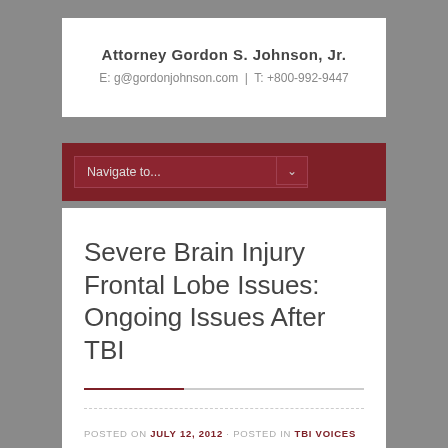Attorney Gordon S. Johnson, Jr.
E: g@gordonjohnson.com | T: +800-992-9447
Navigate to...
Severe Brain Injury Frontal Lobe Issues: Ongoing Issues After TBI
POSTED ON JULY 12, 2012 · POSTED IN TBI VOICES